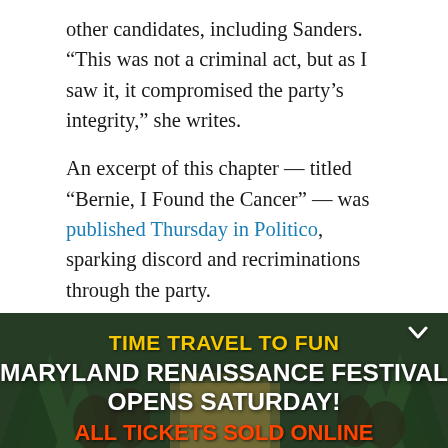other candidates, including Sanders. “This was not a criminal act, but as I saw it, it compromised the party’s integrity,” she writes.
An excerpt of this chapter — titled "Bernie, I Found the Cancer" — was published Thursday in Politico, sparking discord and recriminations through the party.
As she traveled the country, Brazile writes, she detected an alarming lack of enthusiasm for Clinton. On black radio stations, few people defended the nominee. In Hispanic neighborhoods, the only Clinton signs she saw
[Figure (infographic): Advertisement banner for Maryland Renaissance Festival with dark green forest background and costumed figures. Yellow bold text reads TIME TRAVEL TO FUN, white bold text reads MARYLAND RENAISSANCE FESTIVAL OPENS SATURDAY!, red bold text reads ALL TICKETS SOLD ONLINE.]